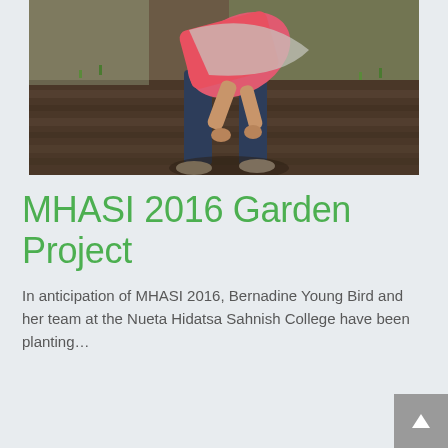[Figure (photo): A person in a pink top and dark pants bending over to plant or tend to soil in a cultivated field. The soil is dark brown and freshly tilled with small green sprouts visible.]
MHASI 2016 Garden Project
In anticipation of MHASI 2016, Bernadine Young Bird and her team at the Nueta Hidatsa Sahnish College have been planting…